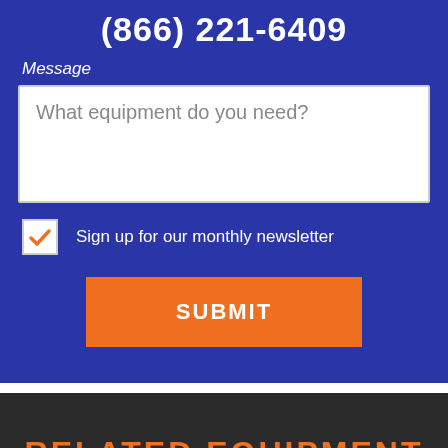(866) 221-6409
Message
What equipment do you need?
Sign up for our monthly newsletter
SUBMIT
RELATED EQUIPMENT